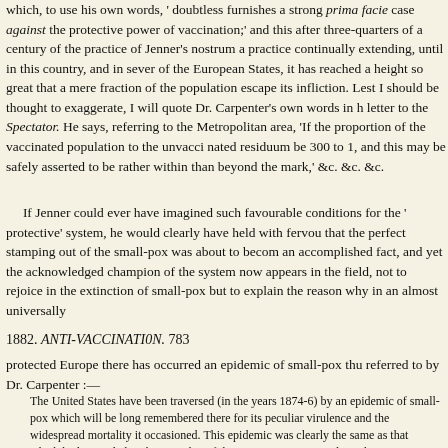which, to use his own words, 'doubtless furnishes a strong prima facie case against the protective power of vaccination;' and this after three-quarters of a century of the practice of Jenner's nostrum a practice continually extending, until in this country, and in several of the European States, it has reached a height so great that a mere fraction of the population escape its infliction. Lest I should be thought to exaggerate, I will quote Dr. Carpenter's own words in his letter to the Spectator. He says, referring to the Metropolitan area, 'If the proportion of the vaccinated population to the unvaccinated residuum be 300 to 1, and this may be safely asserted to be rather within than beyond the mark,' &c. &c. &c.
If Jenner could ever have imagined such favourable conditions for the 'protective' system, he would clearly have held with fervour that the perfect stamping out of the small-pox was about to become an accomplished fact, and yet the acknowledged champion of the system now appears in the field, not to rejoice in the extinction of small-pox but to explain the reason why in an almost universally
1882. ANTI-VACCINATION. 783
protected Europe there has occurred an epidemic of small-pox thus referred to by Dr. Carpenter :—
The United States have been traversed (in the years 1874-6) by an epidemic of small-pox which will be long remembered there for its peculiar virulence and the widespread mortality it occasioned. This epidemic was clearly the same as that which had prevailed with somewhat of the same severity not only in this